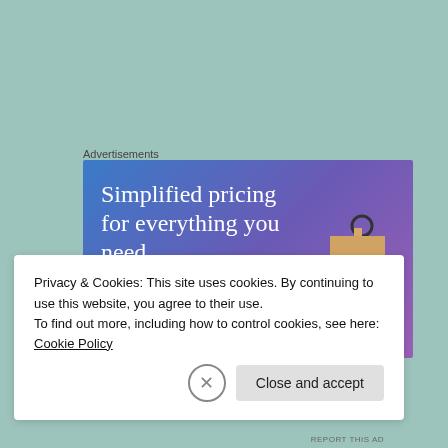Advertisements
[Figure (infographic): Advertisement banner with gradient blue-purple background showing text 'Simplified pricing for everything you need.' with a pink 'Build Your Website' button and a price tag illustration on the right.]
Privacy & Cookies: This site uses cookies. By continuing to use this website, you agree to their use.
To find out more, including how to control cookies, see here: Cookie Policy
Close and accept